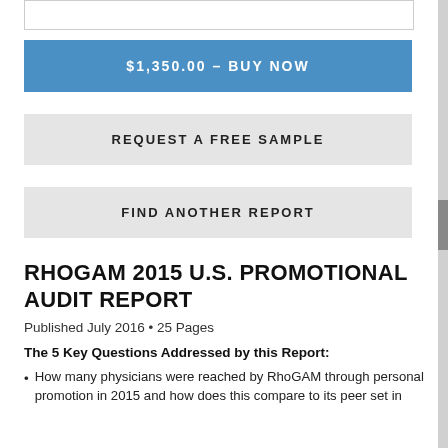[Figure (other): Input text box (empty, with border)]
[Figure (other): Blue buy button with text '$1,350.00 – BUY NOW']
[Figure (other): Gray button with text 'REQUEST A FREE SAMPLE']
[Figure (other): Gray button with text 'FIND ANOTHER REPORT']
RHOGAM 2015 U.S. PROMOTIONAL AUDIT REPORT
Published July 2016 • 25 Pages
The 5 Key Questions Addressed by this Report:
How many physicians were reached by RhoGAM through personal promotion in 2015 and how does this compare to its peer set in